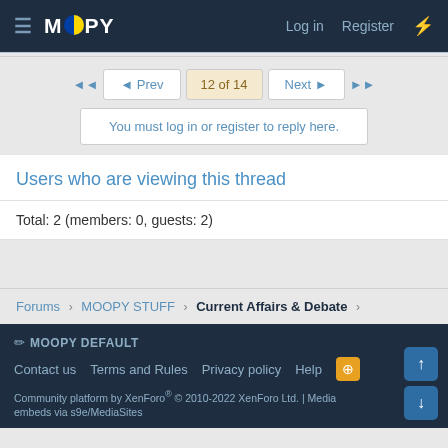MOOPY | Log in | Register
◄◄  ◄ Prev  12 of 14  Next ►  ►►
You must log in or register to reply here.
Users who are viewing this thread
Total: 2 (members: 0, guests: 2)
Forums > MOOPY STUFF > Current Affairs & Debate >
MOOPY DEFAULT | Contact us | Terms and Rules | Privacy policy | Help | Community platform by XenForo® © 2010-2022 XenForo Ltd. | Media embeds via s9e/MediaSites